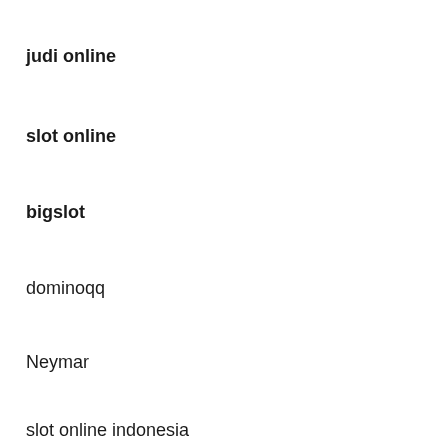judi online
slot online
bigslot
dominoqq
Neymar
slot online indonesia
slot online